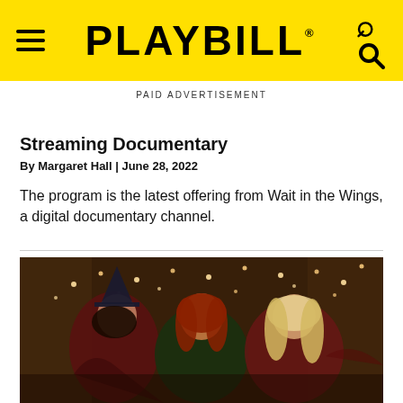PLAYBILL
PAID ADVERTISEMENT
Streaming Documentary
By Margaret Hall | June 28, 2022
The program is the latest offering from Wait in the Wings, a digital documentary channel.
[Figure (photo): Three women in witch costumes posing together in a dimly lit room with string lights in the background. The women wear elaborate Halloween costumes in dark colors — burgundy, dark green, and a lacy red dress.]